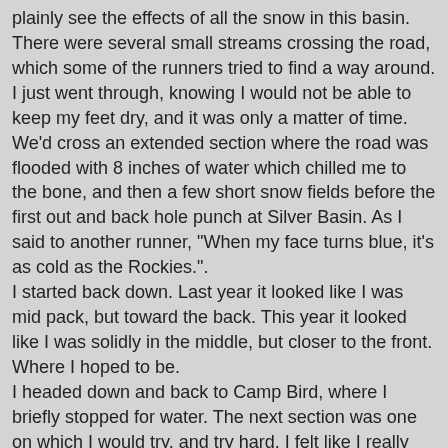plainly see the effects of all the snow in this basin. There were several small streams crossing the road, which some of the runners tried to find a way around. I just went through, knowing I would not be able to keep my feet dry, and it was only a matter of time. We'd cross an extended section where the road was flooded with 8 inches of water which chilled me to the bone, and then a few short snow fields before the first out and back hole punch at Silver Basin. As I said to another runner, "When my face turns blue, it's as cold as the Rockies.".
I started back down. Last year it looked like I was mid pack, but toward the back. This year it looked like I was solidly in the middle, but closer to the front. Where I hoped to be.
I headed down and back to Camp Bird, where I briefly stopped for water. The next section was one on which I would try, and try hard. I felt like I really slowed down alot here last year, with the 2.1 miles from Camp Bird to Richmond taking way too much time. I hoped to make it to Richmond by noon or better, but I'd also decided to not look at my phone and see what time it was or how I was doing. I guess it's good to keep track, but I also didn't want to see I was moving too slow and get disappointed and start that negative mental downwards spiral.